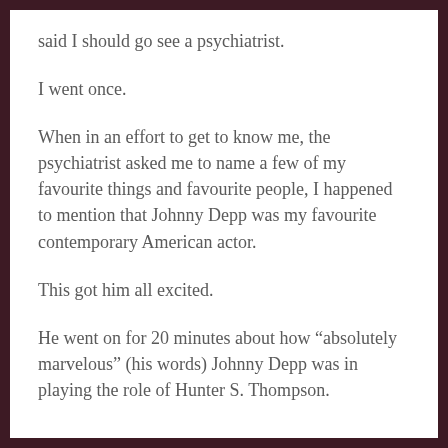said I should go see a psychiatrist.
I went once.
When in an effort to get to know me, the psychiatrist asked me to name a few of my favourite things and favourite people, I happened to mention that Johnny Depp was my favourite contemporary American actor.
This got him all excited.
He went on for 20 minutes about how “absolutely marvelous” (his words) Johnny Depp was in playing the role of Hunter S. Thompson.